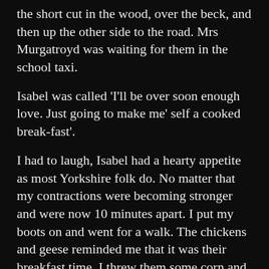the short cut in the wood, over the beck, and then up the other side to the road. Mrs Murgatroyd was waiting for them in the school taxi.
Isabel was called 'I'll be over soon enough love. Just going to make me' self a cooked break-fast'.
I had to laugh, Isabel had a hearty appetite as most Yorkshire folk do. No matter that my contractions were becoming stronger and were now 10 minutes apart. I put my boots on and went for a walk. The chickens and geese reminded me that it was their breakfast time. I threw them some corn and went up to the fields to check the cows. Every so often I'd